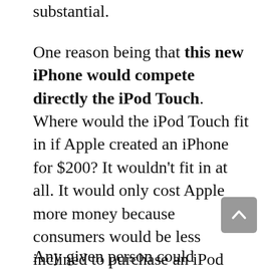substantial.
One reason being that this new iPhone would compete directly the iPod Touch. Where would the iPod Touch fit in if Apple created an iPhone for $200? It wouldn't fit in at all. It would only cost Apple more money because consumers would be less inclined to purchase an iPod Touch — think of all those people who purchase an iPod Touch now, and the think of those same people who purchase an iPhone later on when their current phone contracts expire.
Any given person could purchase iPod